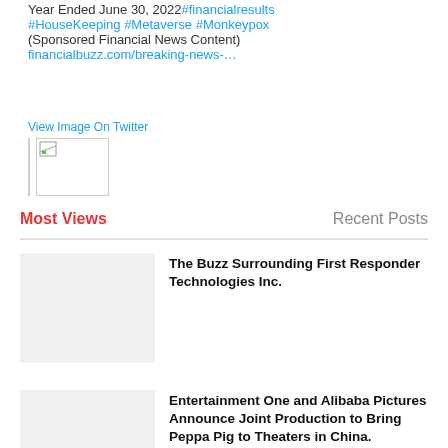Year Ended June 30, 2022#financialresults #HouseKeeping #Metaverse #Monkeypox (Sponsored Financial News Content) financialbuzz.com/breaking-news-…
[Figure (screenshot): Twitter image placeholder with 'View Image On Twitter' label and small broken image icon]
Most Views
Recent Posts
[Figure (photo): Gray placeholder thumbnail for article about First Responder Technologies Inc.]
The Buzz Surrounding First Responder Technologies Inc.
[Figure (photo): Gray placeholder thumbnail for article about Entertainment One and Alibaba Pictures]
Entertainment One and Alibaba Pictures Announce Joint Production to Bring Peppa Pig to Theaters in China.